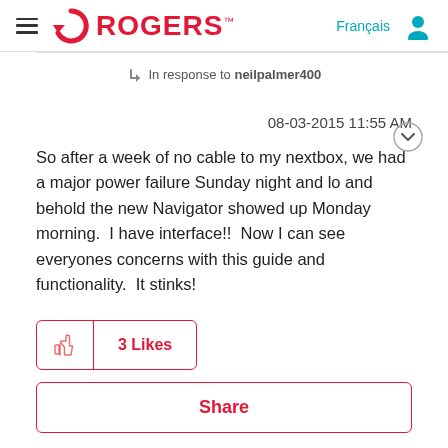[Figure (logo): Rogers Communications logo — red circular arrow icon with ROGERS wordmark in red, hamburger menu icon on left, Français language link and user profile icon on right]
In response to neilpalmer400
08-03-2015 11:55 AM
So after a week of no cable to my nextbox, we had a major power failure Sunday night and lo and behold the new Navigator showed up Monday morning.  I have interface!!  Now I can see everyones concerns with this guide and functionality.  It stinks!
3 Likes
Share